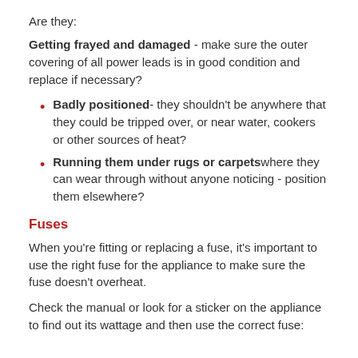Are they:
Getting frayed and damaged - make sure the outer covering of all power leads is in good condition and replace if necessary?
Badly positioned- they shouldn't be anywhere that they could be tripped over, or near water, cookers or other sources of heat?
Running them under rugs or carpets where they can wear through without anyone noticing - position them elsewhere?
Fuses
When you're fitting or replacing a fuse, it's important to use the right fuse for the appliance to make sure the fuse doesn't overheat.
Check the manual or look for a sticker on the appliance to find out its wattage and then use the correct fuse: